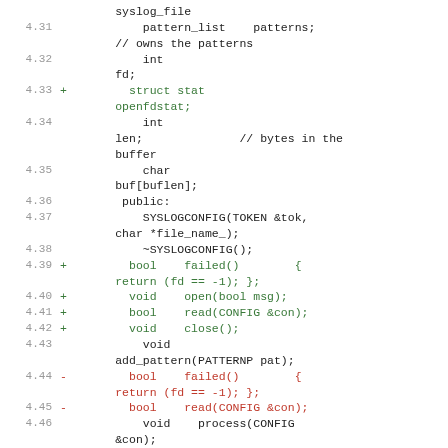Code diff showing SYSLOGCONFIG struct members and methods, lines 4.31-4.48
[Figure (screenshot): Source code diff view showing C++ struct members and methods with line numbers 4.31-4.48, additions in green, removals in red, unchanged code in black/grey monospace font.]